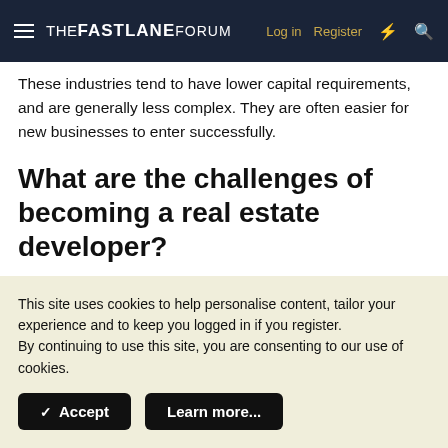THE FASTLANE FORUM — Log in | Register
These industries tend to have lower capital requirements, and are generally less complex. They are often easier for new businesses to enter successfully.
What are the challenges of becoming a real estate developer?
Real estate development is a capital intensive industry that requires a great deal of experience and expertise. The
This site uses cookies to help personalise content, tailor your experience and to keep you logged in if you register.
By continuing to use this site, you are consenting to our use of cookies.